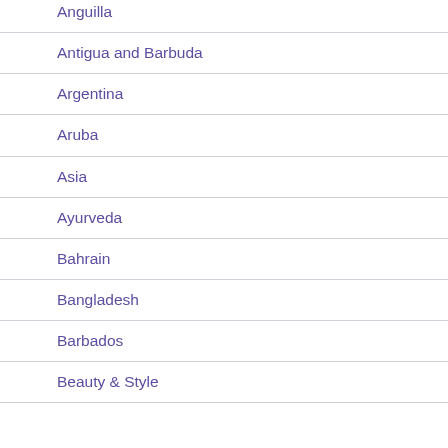Anguilla
Antigua and Barbuda
Argentina
Aruba
Asia
Ayurveda
Bahrain
Bangladesh
Barbados
Beauty & Style